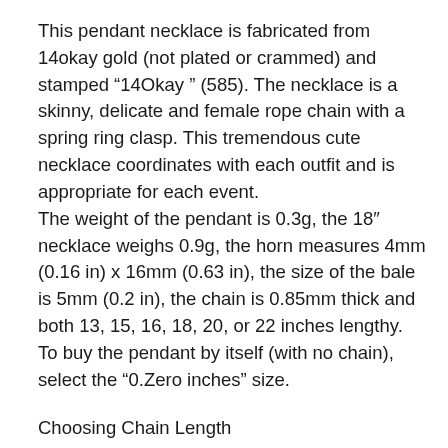This pendant necklace is fabricated from 14okay gold (not plated or crammed) and stamped “14Okay ” (585). The necklace is a skinny, delicate and female rope chain with a spring ring clasp. This tremendous cute necklace coordinates with each outfit and is appropriate for each event. The weight of the pendant is 0.3g, the 18″ necklace weighs 0.9g, the horn measures 4mm (0.16 in) x 16mm (0.63 in), the size of the bale is 5mm (0.2 in), the chain is 0.85mm thick and both 13, 15, 16, 18, 20, or 22 inches lengthy. To buy the pendant by itself (with no chain), select the “0.Zero inches” size.
Choosing Chain Length
Unsure what size chain to purchase? 18″ is the usual size and can look nice on most individuals. 13″ size to 15″ size may be worn as a choker on a median dimension grownup. The 16″ size will fall simply above the collarbone on a median sized grownup girl, whereas the 18″ chain will fall slightly below it. For greatest outcomes, we do suggest